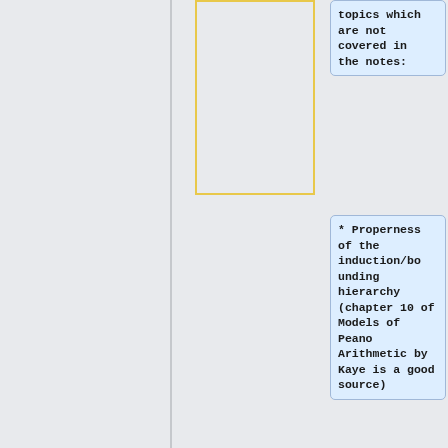topics which are not covered in the notes:
* Properness of the induction/bounding hierarchy (chapter 10 of Models of Peano Arithmetic by Kaye is a good source)
* Tennenbaum's theorem (this is a quick consequence